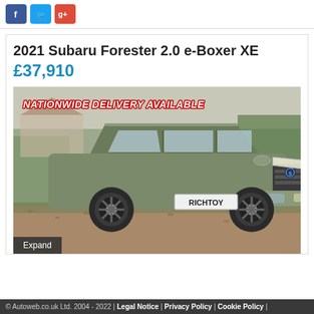[Figure (logo): Social media icons: Facebook (blue), Twitter (blue bird), Google+ (red)]
2021 Subaru Forester 2.0 e-Boxer XE
£37,910
[Figure (photo): Photo of a green/olive 2021 Subaru Forester SUV parked on gravel with 'NATIONWIDE DELIVERY AVAILABLE' banner text overlay and number plate reading RICHTOY]
Expand
© Autoweb.co.uk Ltd. 2004 - 2022 | Legal Notice | Privacy Policy | Cookie Policy |